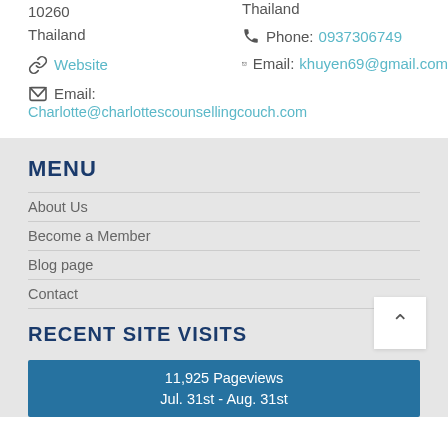10260
Thailand
Website
Email: Charlotte@charlottescounsellingcouch.com
Thailand
Phone: 0937306749
Email: khuyen69@gmail.com
MENU
About Us
Become a Member
Blog page
Contact
RECENT SITE VISITS
11,925 Pageviews
Jul. 31st - Aug. 31st